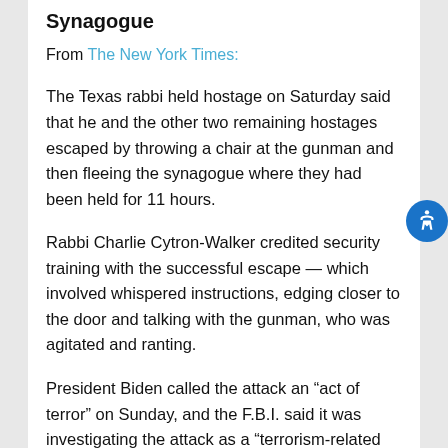Synagogue
From The New York Times:
The Texas rabbi held hostage on Saturday said that he and the other two remaining hostages escaped by throwing a chair at the gunman and then fleeing the synagogue where they had been held for 11 hours.
Rabbi Charlie Cytron-Walker credited security training with the successful escape — which involved whispered instructions, edging closer to the door and talking with the gunman, who was agitated and ranting.
President Biden called the attack an “act of terror” on Sunday, and the F.B.I. said it was investigating the attack as a “terrorism-related matter”.